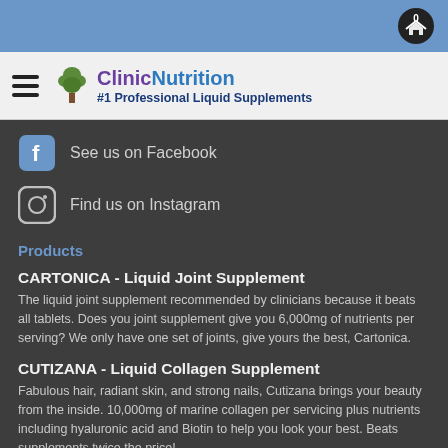ClinicNutrition #1 Professional Liquid Supplements
See us on Facebook
Find us on Instagram
Products
CARTONICA - Liquid Joint Supplement
The liquid joint supplement recommended by clinicians because it beats all tablets.  Does you joint supplement give you 6,000mg of nutrients per serving? We only have one set of joints, give yours the best, Cartonica.
CUTIZANA - Liquid Collagen Supplement
Fabulous hair, radiant skin, and strong nails, Cutizana brings your beauty from the inside.  10,000mg of marine collagen per servicing plus nutrients including hyaluronic acid and Biotin to help you look your best.  Beats supplements twice the price!